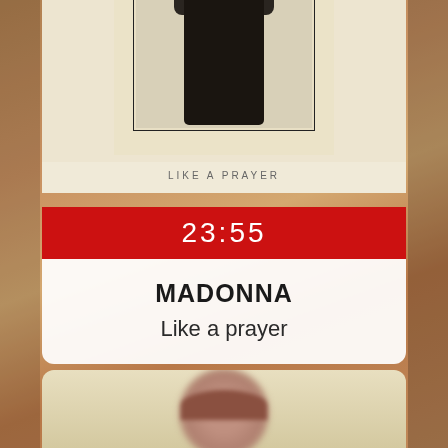[Figure (photo): Album cover for Madonna 'Like a Prayer' - black and white photo of a woman with crossed arms, cream/off-white background, displayed on a card with flower imagery in background]
LIKE A PRAYER
23:55
MADONNA
Like a prayer
[Figure (photo): Partial view of a woman's face on a light/cream colored album card at the bottom of the screen]